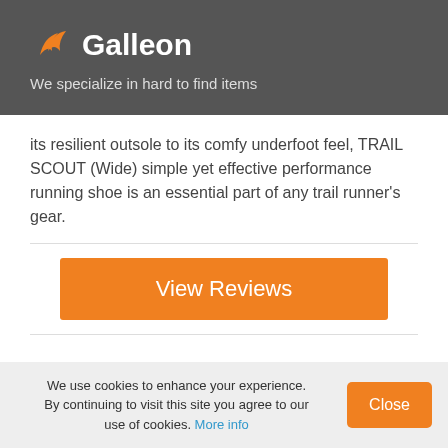Galleon — We specialize in hard to find items
its resilient outsole to its comfy underfoot feel, TRAIL SCOUT (Wide) simple yet effective performance running shoe is an essential part of any trail runner's gear.
View Reviews
★ Related Products
We use cookies to enhance your experience. By continuing to visit this site you agree to our use of cookies. More info